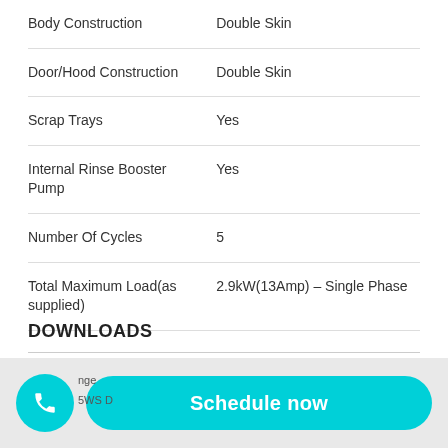| Property | Value |
| --- | --- |
| Body Construction | Double Skin |
| Door/Hood Construction | Double Skin |
| Scrap Trays | Yes |
| Internal Rinse Booster Pump | Yes |
| Number Of Cycles | 5 |
| Total Maximum Load(as supplied) | 2.9kW(13Amp) – Single Phase |
DOWNLOADS
Schedule now